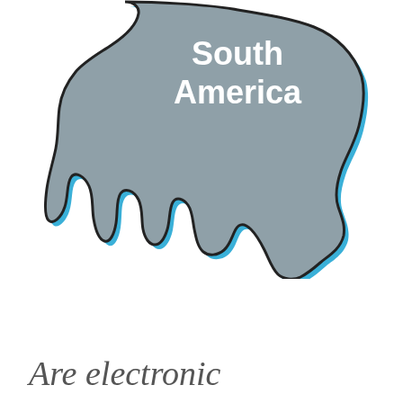[Figure (map): Stylized outline map of South America. The continent shape is filled with grey (#8fa0a8), with a thick black outline and a blue (#3ab0d8) highlight/shadow on the right and bottom edges. White bold text reading 'South America' is displayed in the upper portion of the continent shape.]
Are electronic